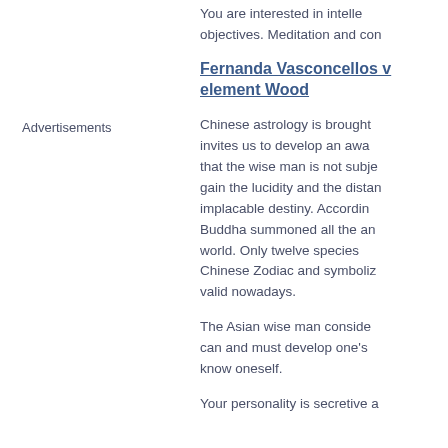You are interested in intelle objectives. Meditation and con
Advertisements
Fernanda Vasconcellos w element Wood
Chinese astrology is brought invites us to develop an awa that the wise man is not subje gain the lucidity and the distan implacable destiny. Accordin Buddha summoned all the an world. Only twelve species Chinese Zodiac and symboliz valid nowadays.
The Asian wise man conside can and must develop one's know oneself.
Your personality is secretive a